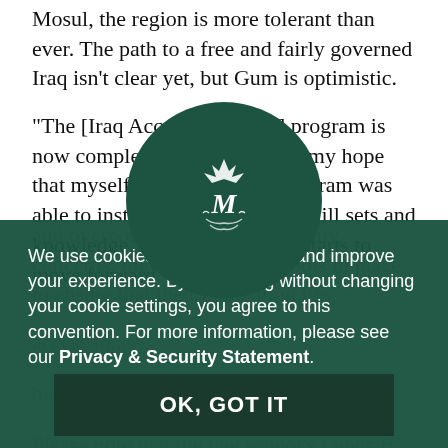Mosul, the region is more tolerant than ever. The path to a free and fairly governed Iraq isn't clear yet, but Gum is optimistic.
“The [Iraq Access to Justice] program is now complete,” she says. “It is my hope that myself and the broader program was able to instill some capacities, skill sets and knowledge. When the country starts to move forward and overcome some of the security concerns, they will have the tools in place to ensure that their population has
[Figure (logo): Circular dark green emblem with ornate royal/institutional monogram in white]
We use cookies to analyze traffic and improve your experience. By continuing without changing your cookie settings, you agree to this convention. For more information, please see our Privacy & Security Statement.
OK, GOT IT